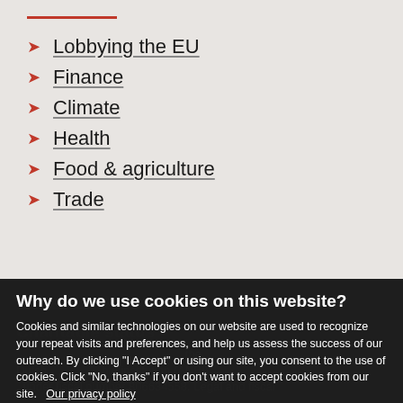Lobbying the EU
Finance
Climate
Health
Food & agriculture
Trade
Why do we use cookies on this website?
Cookies and similar technologies on our website are used to recognize your repeat visits and preferences, and help us assess the success of our outreach. By clicking "I Accept" or using our site, you consent to the use of cookies. Click "No, thanks" if you don't want to accept cookies from our site. Our privacy policy
OK, I agree
No, thanks